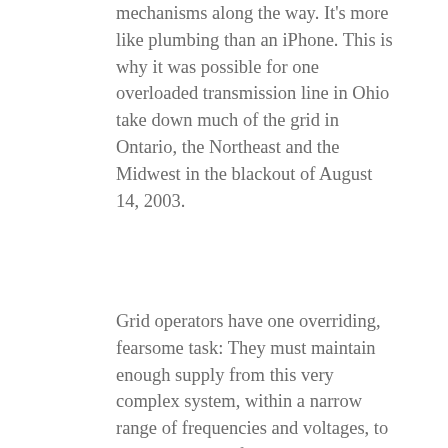mechanisms along the way. It's more like plumbing than an iPhone. This is why it was possible for one overloaded transmission line in Ohio take down much of the grid in Ontario, the Northeast and the Midwest in the blackout of August 14, 2003.
Grid operators have one overriding, fearsome task: They must maintain enough supply from this very complex system, within a narrow range of frequencies and voltages, to meet constantly fluctuating demand at all times. Therefore they tend to be risk-averse, preferring to stick with what they know to be reliable, and avoiding innovation.
Enter renewables
Before the advent of renewables, generating power was a pretty straightforward task: When demand increased, you just added more fuel to an engine. With renewables, the task is reversed: